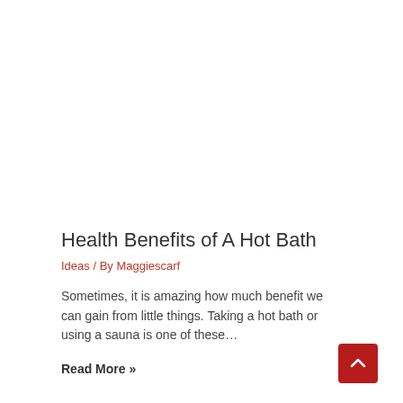Health Benefits of A Hot Bath
Ideas / By Maggiescarf
Sometimes, it is amazing how much benefit we can gain from little things. Taking a hot bath or using a sauna is one of these…
Read More »